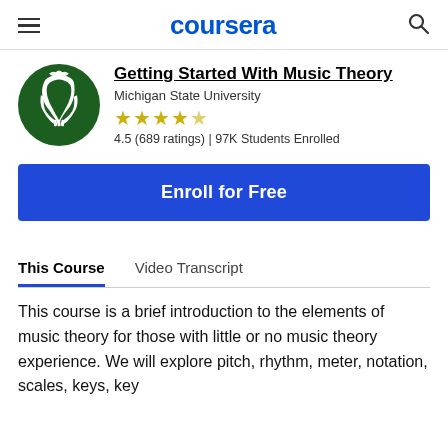coursera
Getting Started With Music Theory
Michigan State University
4.5 (689 ratings) | 97K Students Enrolled
Enroll for Free
This Course   Video Transcript
This course is a brief introduction to the elements of music theory for those with little or no music theory experience. We will explore pitch, rhythm, meter, notation, scales, keys, key signatures, consonant intervals, and basic chord types.